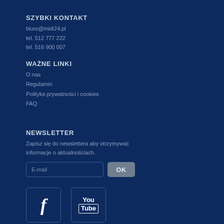SZYBKI KONTAKT
biuro@midi24.pl
tel. 512 777 222
tel. 516 900 007
WAŻNE LINKI
O nas
Regulamin
Polityka prywatności i cookies
FAQ
NEWSLETTER
Zapisz się do newslettera aby otrzymywać informacje o aktualnościach.
[Figure (screenshot): E-mail input field and OK button for newsletter signup]
[Figure (logo): Facebook and YouTube social media icon buttons]